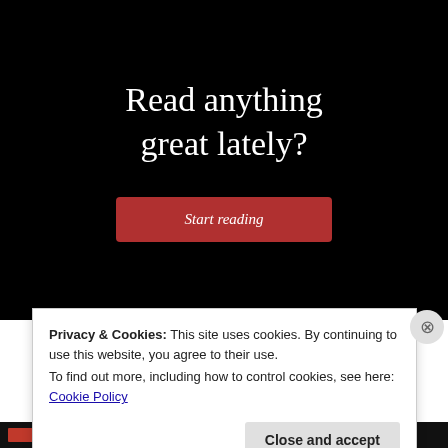[Figure (screenshot): Screenshot of a website hero section with black background showing the text 'Read anything great lately?' in white serif font, with a red 'Start reading' button below.]
Privacy & Cookies: This site uses cookies. By continuing to use this website, you agree to their use.
To find out more, including how to control cookies, see here: Cookie Policy
Close and accept